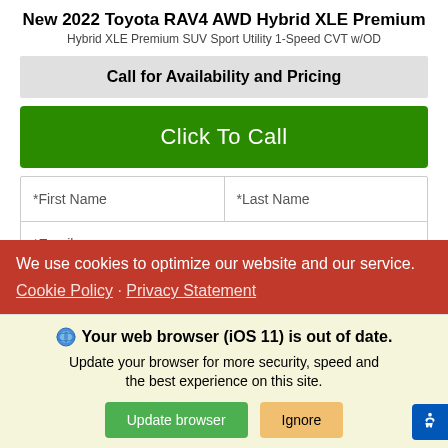New 2022 Toyota RAV4 AWD Hybrid XLE Premium
Hybrid XLE Premium SUV Sport Utility 1-Speed CVT w/OD
Call for Availability and Pricing
Click To Call
*First Name
*Last Name
*Email
Phone
Get Our Best Price
We use cookies to optimize our website and our service.
Cookie Policy  Privacy Statement
Your web browser (iOS 11) is out of date. Update your browser for more security, speed and the best experience on this site.
Update browser
Ignore